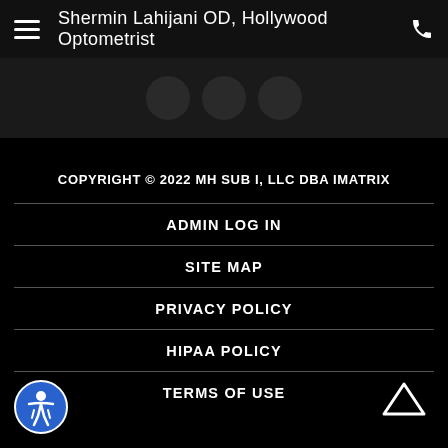Shermin Lahijani OD, Hollywood Optometrist
COPYRIGHT © 2022 MH SUB I, LLC DBA IMATRIX
ADMIN LOG IN
SITE MAP
PRIVACY POLICY
HIPAA POLICY
TERMS OF USE